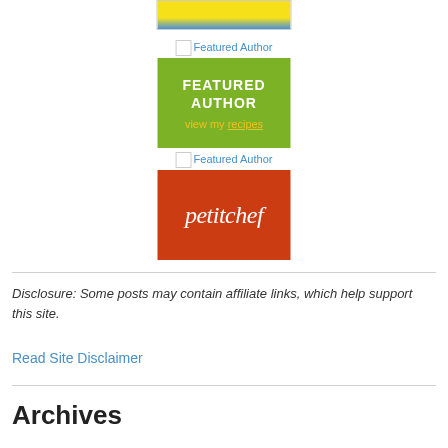[Figure (logo): Top banner with yellow and blue gradient, partial view of a badge/logo]
[Figure (logo): Featured Author image placeholder with text link]
[Figure (infographic): Green box with text FEATURED AUTHOR and link 'view my recipes']
[Figure (logo): Second Featured Author image placeholder with text link]
[Figure (logo): Red box with petitchef text logo]
Disclosure: Some posts may contain affiliate links, which help support this site.
Read Site Disclaimer
Archives